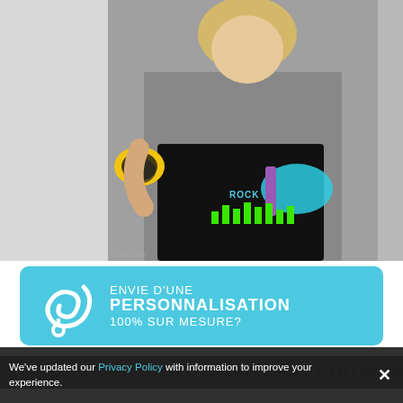[Figure (photo): Woman wearing a black electroluminescent guitar tank top, holding yellow sunglasses, against a grey background. T-shirt has a glowing guitar and equalizer graphic design.]
ENVIE D'UNE PERSONNALISATION 100% SUR MESURE?
T-SHIRT ELECTROLUMINESCENT GUITAR WOMAN
We've updated our Privacy Policy with information to improve your experience.